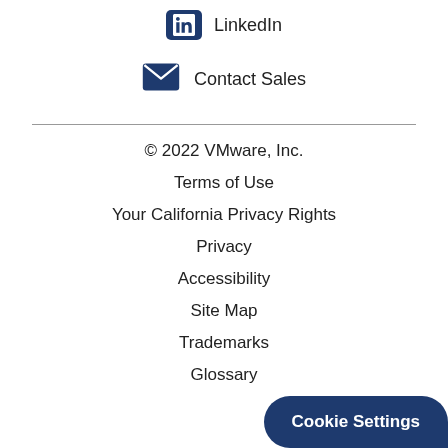LinkedIn
Contact Sales
© 2022 VMware, Inc.
Terms of Use
Your California Privacy Rights
Privacy
Accessibility
Site Map
Trademarks
Glossary
Cookie Settings